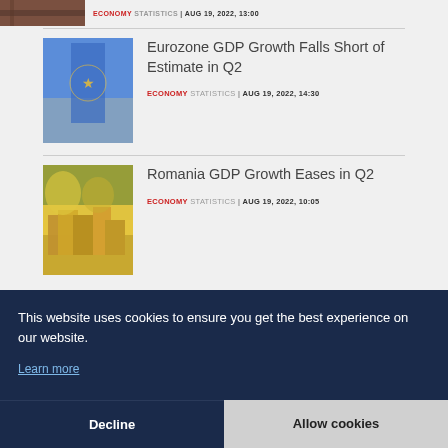ECONOMY STATISTICS | AUG 19, 2022, 13:00
Eurozone GDP Growth Falls Short of Estimate in Q2
ECONOMY STATISTICS | AUG 19, 2022, 14:30
Romania GDP Growth Eases in Q2
ECONOMY STATISTICS | AUG 19, 2022, 10:05
This website uses cookies to ensure you get the best experience on our website.
Learn more
Decline
Allow cookies